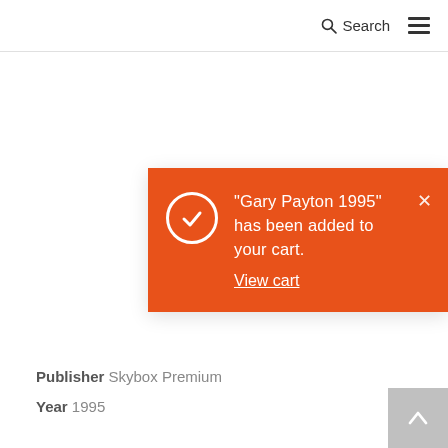Search ☰
"Gary Payton 1995" has been added to your cart. View cart
Publisher Skybox Premium
Year 1995